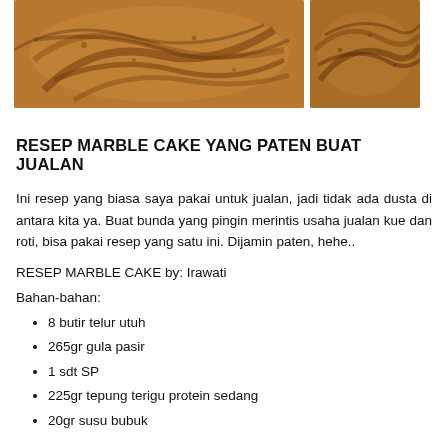[Figure (photo): Two photos of marble cake — a large photo on the left and a smaller photo on the right, showing the top surface of a marble cake with swirled brown patterns.]
RESEP MARBLE CAKE YANG PATEN BUAT JUALAN
Ini resep yang biasa saya pakai untuk jualan, jadi tidak ada dusta di antara kita ya. Buat bunda yang pingin merintis usaha jualan kue dan roti, bisa pakai resep yang satu ini. Dijamin paten, hehe..
RESEP MARBLE CAKE by: Irawati
Bahan-bahan:
8 butir telur utuh
265gr gula pasir
1 sdt SP
225gr tepung terigu protein sedang
20gr susu bubuk